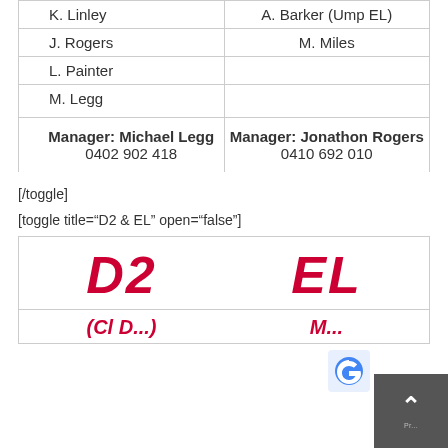| Left Team Players | Right Team / Umpire |
| --- | --- |
| K. Linley | A. Barker (Ump EL) |
| J. Rogers | M. Miles |
| L. Painter |  |
| M. Legg |  |
| Manager: Michael Legg
0402 902 418 | Manager: Jonathon Rogers
0410 692 010 |
[/toggle]
[toggle title="D2 & EL" open="false"]
| D2 | EL |
| --- | --- |
(Cl D...) ... M...